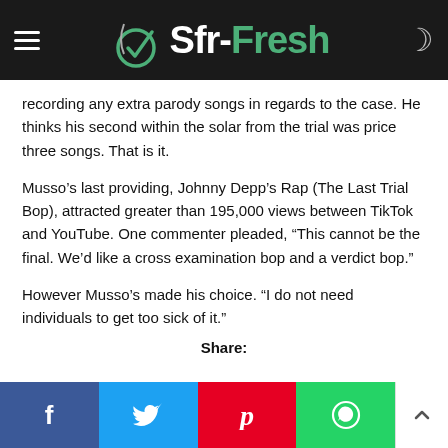Sfr-Fresh
recording any extra parody songs in regards to the case. He thinks his second within the solar from the trial was price three songs. That is it.
Musso’s last providing, Johnny Depp’s Rap (The Last Trial Bop), attracted greater than 195,000 views between TikTok and YouTube. One commenter pleaded, “This cannot be the final. We’d like a cross examination bop and a verdict bop.”
However Musso’s made his choice. “I do not need individuals to get too sick of it.”
Share:
[Figure (other): Social sharing buttons: Facebook, Twitter, Pinterest, WhatsApp, and scroll-to-top button]